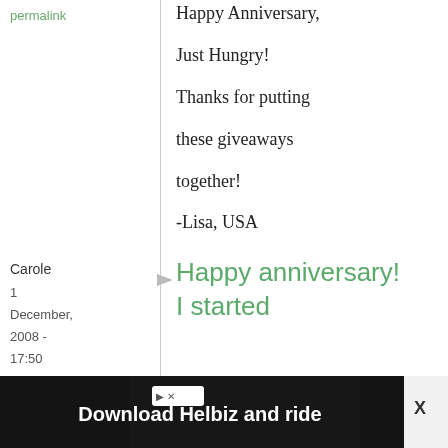permalink
Happy Anniversary, Just Hungry! Thanks for putting these giveaways together! -Lisa, USA
Carole
1 December, 2008 - 17:50
permalink
Happy anniversary! I started
[Figure (screenshot): Download Helbiz and ride advertisement banner at bottom of page with close button marked X]